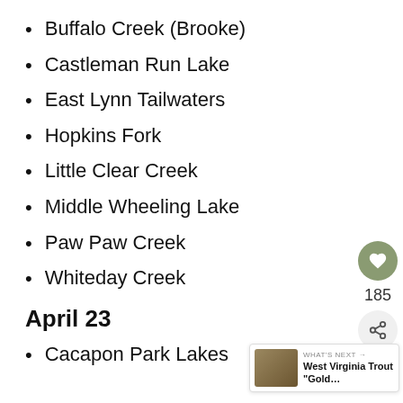Buffalo Creek (Brooke)
Castleman Run Lake
East Lynn Tailwaters
Hopkins Fork
Little Clear Creek
Middle Wheeling Lake
Paw Paw Creek
Whiteday Creek
April 23
Cacapon Park Lakes